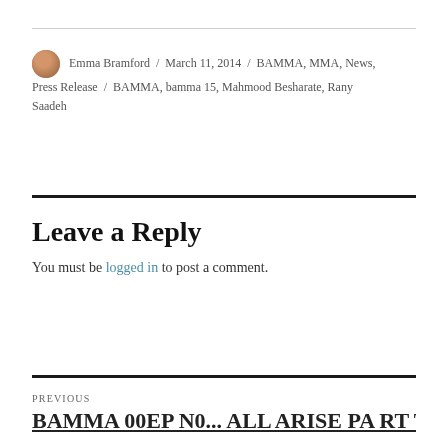Emma Bramford / March 11, 2014 / BAMMA, MMA, News, Press Release / BAMMA, bamma 15, Mahmood Besharate, Rany Saadeh
Leave a Reply
You must be logged in to post a comment.
PREVIOUS